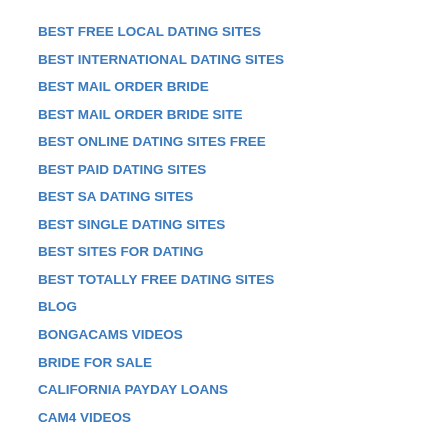BEST FREE LOCAL DATING SITES
BEST INTERNATIONAL DATING SITES
BEST MAIL ORDER BRIDE
BEST MAIL ORDER BRIDE SITE
BEST ONLINE DATING SITES FREE
BEST PAID DATING SITES
BEST SA DATING SITES
BEST SINGLE DATING SITES
BEST SITES FOR DATING
BEST TOTALLY FREE DATING SITES
BLOG
BONGACAMS VIDEOS
BRIDE FOR SALE
CALIFORNIA PAYDAY LOANS
CAM4 VIDEOS